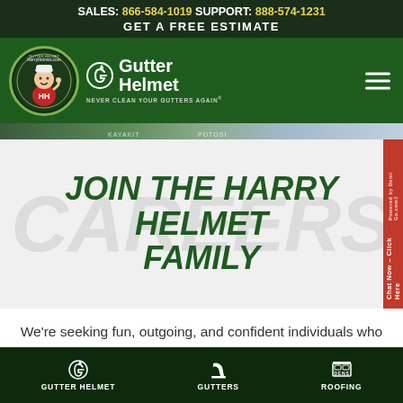SALES: 866-584-1019   SUPPORT: 888-574-1231
GET A FREE ESTIMATE
[Figure (logo): Gutter Helmet logo with Harry Helmet mascot cartoon character in a circle, green nav bar with hamburger menu]
JOIN THE HARRY HELMET FAMILY
We're seeking fun, outgoing, and confident individuals who enjoy winning to join our team. Harry Helmet is an equal opportunity employer and
GUTTER HELMET   GUTTERS   ROOFING